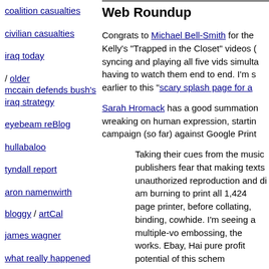coalition casualties
civilian casualties
iraq today / older
mccain defends bush's iraq strategy
eyebeam reBlog
hullabaloo
tyndall report
aron namenwirth
bloggy / artCal
james wagner
what really happened
Web Roundup
Congrats to Michael Bell-Smith for the Kelly's "Trapped in the Closet" videos ( syncing and playing all five vids simulta having to watch them end to end. I'm s earlier to this "scary splash page for a
Sarah Hromack has a good summation wreaking on human expression, startin campaign (so far) against Google Print
Taking their cues from the music publishers fear that making texts unauthorized reproduction and di am burning to print all 1,424 page printer, before collating, binding, cowhide. I'm seeing a multiple-vo embossing, the works. Ebay, Hai pure profit potential of this schem
Ed Rackley offers an especially clear a its rich neighbor to the north, Khartoun year in the Sudan working as a consul